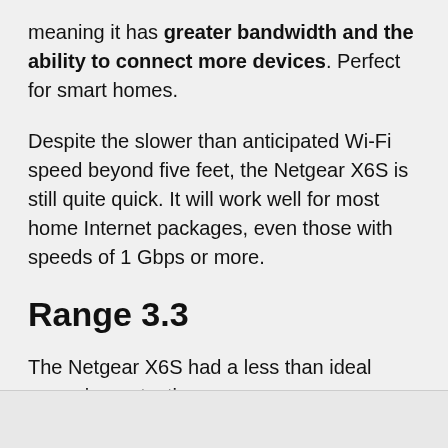meaning it has greater bandwidth and the ability to connect more devices. Perfect for smart homes.
Despite the slower than anticipated Wi-Fi speed beyond five feet, the Netgear X6S is still quite quick. It will work well for most home Internet packages, even those with speeds of 1 Gbps or more.
Range 3.3
The Netgear X6S had a less than ideal range in our testing–